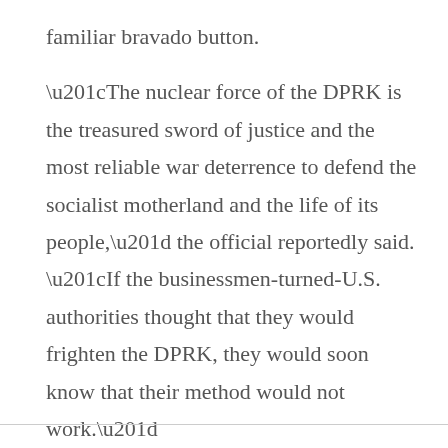familiar bravado button.
“The nuclear force of the DPRK is the treasured sword of justice and the most reliable war deterrence to defend the socialist motherland and the life of its people,” the official reportedly said. “If the businessmen-turned-U.S. authorities thought that they would frighten the DPRK, they would soon know that their method would not work.”
…